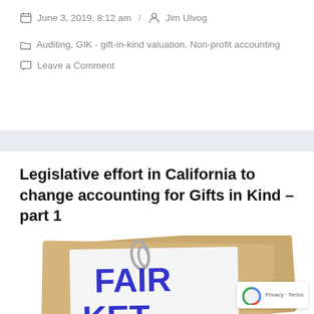June 3, 2019, 8:12 am / Jim Ulvog
Auditing, GIK - gift-in-kind valuation, Non-profit accounting
Leave a Comment
Legislative effort in California to change accounting for Gifts in Kind – part 1
[Figure (illustration): Brown envelope with a paper clipped white sheet showing 'FAIR MARKET' text in large bold blue letters, partially cropped at bottom]